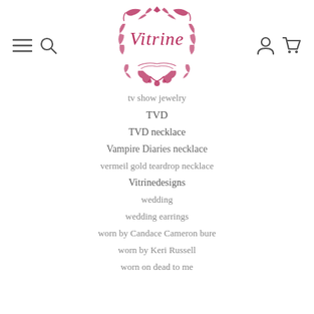[Figure (logo): Vitrine decorative logo with ornate pink floral/scroll frame border and cursive Vitrine text inside]
tv show jewelry
TVD
TVD necklace
Vampire Diaries necklace
vermeil gold teardrop necklace
Vitrinedesigns
wedding
wedding earrings
worn by Candace Cameron bure
worn by Keri Russell
worn on dead to me